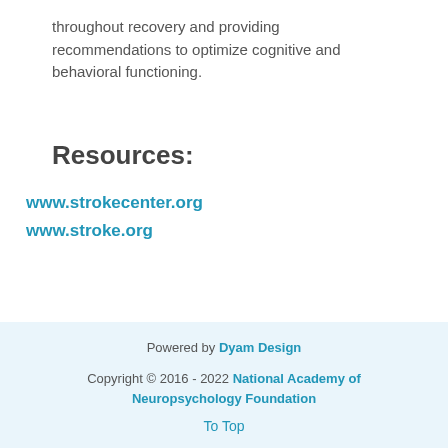throughout recovery and providing recommendations to optimize cognitive and behavioral functioning.
Resources:
www.strokecenter.org
www.stroke.org
Powered by Dyam Design
Copyright © 2016 - 2022 National Academy of Neuropsychology Foundation
To Top